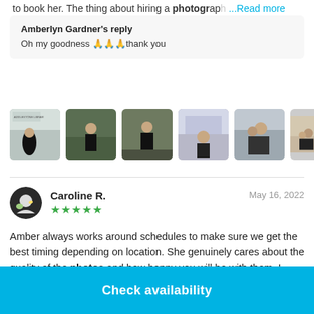to book her. The thing about hiring a photographer ...Read more
Amberlyn Gardner's reply
Oh my goodness 🙏🙏🙏thank you
[Figure (photo): Row of 6 photography portfolio thumbnail images showing portrait/outdoor photography sessions]
Caroline R.   May 16, 2022  ★★★★★
Amber always works around schedules to make sure we get the best timing depending on location. She genuinely cares about the quality of the photos and how happy you will be with them. I highly recommend her!!!
Check availability